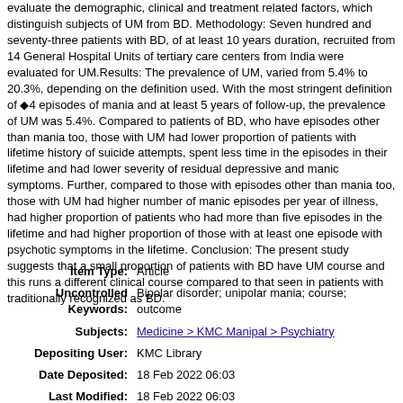evaluate the demographic, clinical and treatment related factors, which distinguish subjects of UM from BD. Methodology: Seven hundred and seventy-three patients with BD, of at least 10 years duration, recruited from 14 General Hospital Units of tertiary care centers from India were evaluated for UM.Results: The prevalence of UM, varied from 5.4% to 20.3%, depending on the definition used. With the most stringent definition of ◆4 episodes of mania and at least 5 years of follow-up, the prevalence of UM was 5.4%. Compared to patients of BD, who have episodes other than mania too, those with UM had lower proportion of patients with lifetime history of suicide attempts, spent less time in the episodes in their lifetime and had lower severity of residual depressive and manic symptoms. Further, compared to those with episodes other than mania too, those with UM had higher number of manic episodes per year of illness, had higher proportion of patients who had more than five episodes in the lifetime and had higher proportion of those with at least one episode with psychotic symptoms in the lifetime. Conclusion: The present study suggests that a small proportion of patients with BD have UM course and this runs a different clinical course compared to that seen in patients with traditionally recognized as BD.
| Label | Value |
| --- | --- |
| Item Type: | Article |
| Uncontrolled Keywords: | Bipolar disorder; unipolar mania; course; outcome |
| Subjects: | Medicine > KMC Manipal > Psychiatry |
| Depositing User: | KMC Library |
| Date Deposited: | 18 Feb 2022 06:03 |
| Last Modified: | 18 Feb 2022 06:03 |